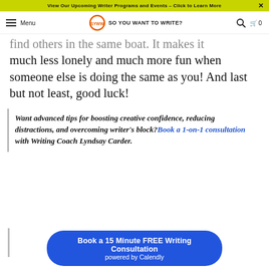View Our Upcoming Writer Programs and Events – Click to Learn More
Menu | SO YOU WANT TO WRITE? | 0
find others in the same boat. It makes it much less lonely and much more fun when someone else is doing the same as you! And last but not least, good luck!
Want advanced tips for boosting creative confidence, reducing distractions, and overcoming writer's block? Book a 1-on-1 consultation with Writing Coach Lyndsay Carder.
Book a 15 Minute FREE Writing Consultation
powered by Calendly